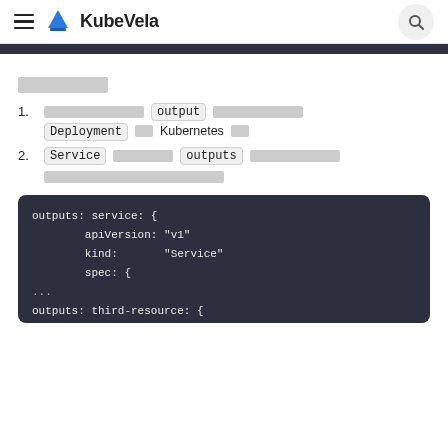KubeVela
□□□□□
□□□□□□□□□□□□□□ output □□□□□□□□□□□□ Deployment □□□ Kubernetes □□□
Service □□□□□□□□ outputs □□□□□□□□□□□□□□ □□□□□□□□□□□□□□□□□□□□□
[Figure (screenshot): Code block showing YAML configuration with outputs: service and outputs: third-resource sections including apiVersion, kind, and spec fields]